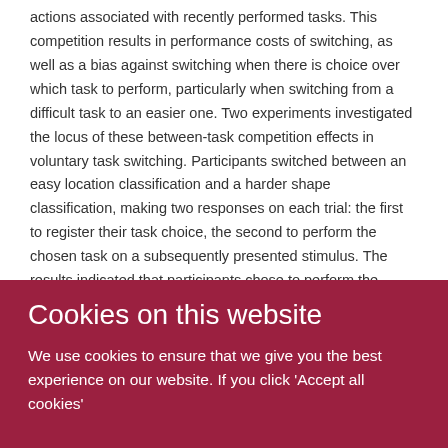actions associated with recently performed tasks. This competition results in performance costs of switching, as well as a bias against switching when there is choice over which task to perform, particularly when switching from a difficult task to an easier one. Two experiments investigated the locus of these between-task competition effects in voluntary task switching. Participants switched between an easy location classification and a harder shape classification, making two responses on each trial: the first to register their task choice, the second to perform the chosen task on a subsequently presented stimulus. The results indicated that participants chose to perform the difficult shape task more often than the easier location task, evidence that between-task competition affects intentions that are expressed independently of task-
Cookies on this website
We use cookies to ensure that we give you the best experience on our website. If you click 'Accept all cookies'